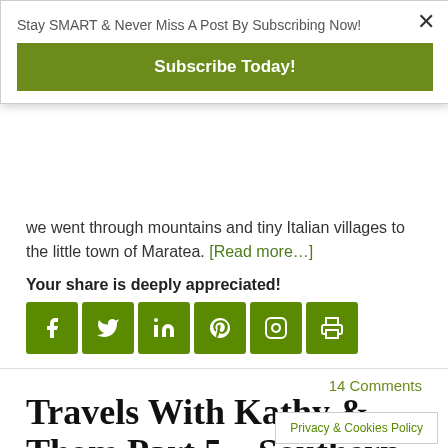Stay SMART & Never Miss A Post By Subscribing Now!
Subscribe Today!
we went through mountains and tiny Italian villages to the little town of Maratea. [Read more…]
Your share is deeply appreciated!
[Figure (infographic): Social share icons: Facebook, Twitter, LinkedIn, Pinterest, Instagram, Print — all green square icons]
14 Comments
Travels With Kathy & Thom Part 5—Southern Italy!
Privacy & Cookies Policy